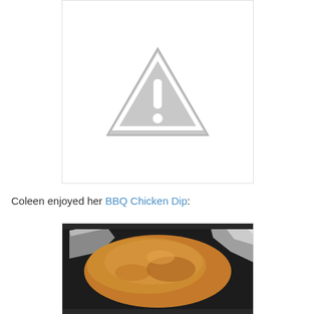[Figure (illustration): Broken image placeholder showing a grey warning triangle with exclamation mark on white background with light border]
Coleen enjoyed her BBQ Chicken Dip:
[Figure (photo): Photo of BBQ Chicken Dip in a baking pan lined with foil, showing a bubbly orange-brown cheesy top, baked in a dark pan]